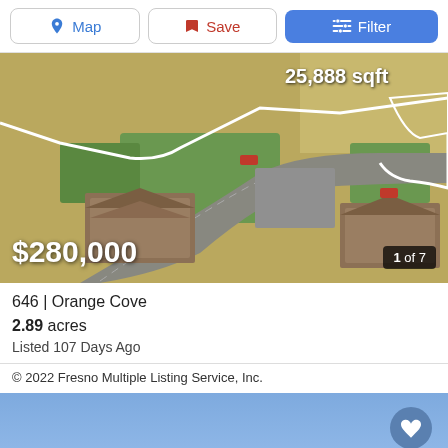[Figure (screenshot): Top toolbar with Map, Save, and Filter buttons]
[Figure (photo): Aerial satellite view of a property showing buildings, roads, and landscaping. Text overlay reads '25,888 sqft', price '$280,000' bottom left, and '1 of 7' badge bottom right.]
646 | Orange Cove
2.89 acres
Listed 107 Days Ago
© 2022 Fresno Multiple Listing Service, Inc.
[Figure (other): Light blue gradient area with a circular heart/favorite button in the upper right corner]